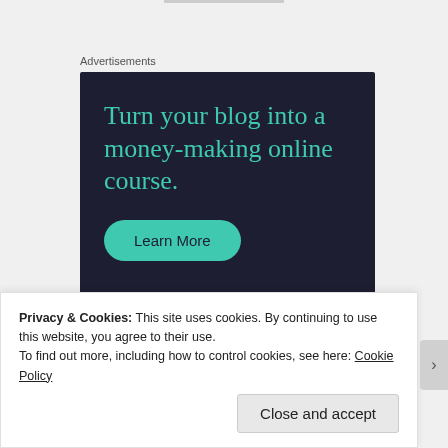Advertisements
[Figure (other): Advertisement banner with dark navy background. Large teal serif text reads 'Turn your blog into a money-making online course.' Below is a teal rounded button labeled 'Learn More'. Bottom-right shows the Sensei logo (white circle with a tree/person icon) and the word 'sensei' in white.]
Privacy & Cookies: This site uses cookies. By continuing to use this website, you agree to their use.
To find out more, including how to control cookies, see here: Cookie Policy
Close and accept